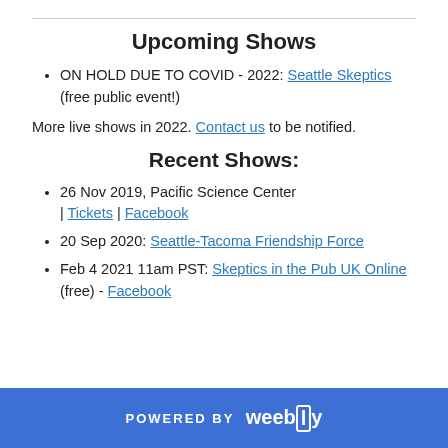Upcoming Shows
ON HOLD DUE TO COVID - 2022: Seattle Skeptics (free public event!)
More live shows in 2022. Contact us to be notified.
Recent Shows:
26 Nov 2019, Pacific Science Center | Tickets | Facebook
20 Sep 2020: Seattle-Tacoma Friendship Force
Feb 4 2021 11am PST: Skeptics in the Pub UK Online (free) - Facebook
POWERED BY weebly